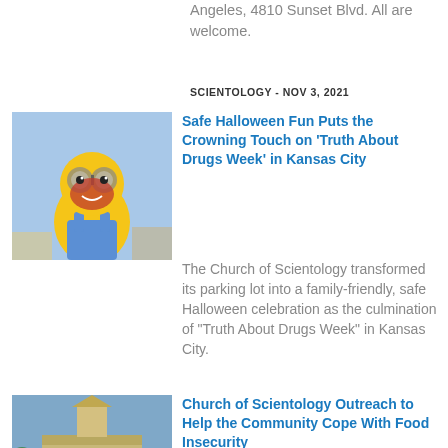Angeles, 4810 Sunset Blvd. All are welcome.
SCIENTOLOGY - NOV 3, 2021
[Figure (photo): Child dressed in yellow Minion costume with face paint]
Safe Halloween Fun Puts the Crowning Touch on 'Truth About Drugs Week' in Kansas City
The Church of Scientology transformed its parking lot into a family-friendly, safe Halloween celebration as the culmination of "Truth About Drugs Week" in Kansas City.
SCIENTOLOGY - NOV 3, 2021
[Figure (photo): Exterior of Church of Scientology Los Angeles building with palm trees]
Church of Scientology Outreach to Help the Community Cope With Food Insecurity
The Church of Scientology Los